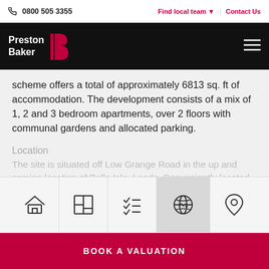0800 505 3355 | Find local team | Contact Us
[Figure (logo): Preston Baker logo with stylized B icon on black background]
scheme offers a total of approximately 6813 sq. ft of accommodation. The development consists of a mix of 1, 2 and 3 bedroom apartments, over 2 floors with communal gardens and allocated parking.
Location
The site is situated off Low Grange Road in the up and coming location of Belle Isle, Leeds. Conveniently located off the M621 motorway and in close proximity to the city
[Figure (infographic): Navigation icon bar with house, floor plan, checklist, globe/sustainability, and location pin icons. Globe icon is highlighted/active.]
BOOK A VALUATION